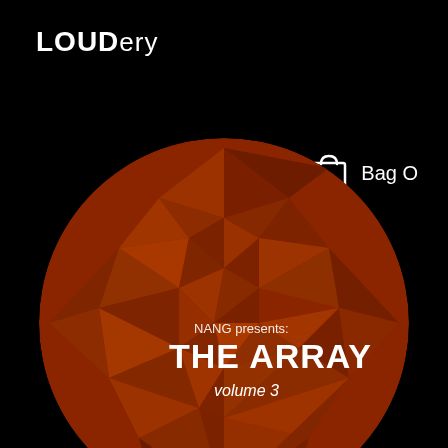LOUDery
[Figure (logo): Shopping bag icon (white outline) with text 'Bag O' to the right]
[Figure (illustration): A low-poly geometric sphere rendered in shades of dark burnt orange/red-brown, partially visible at the bottom of the page. Text overlaid reads 'NANG presents: THE ARRAY volume 3']
NANG presents:
THE ARRAY
volume 3